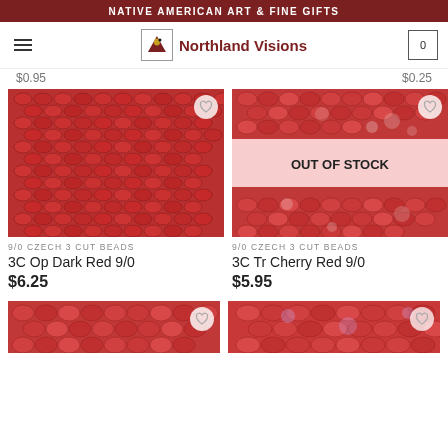NATIVE AMERICAN ART & FINE GIFTS
[Figure (screenshot): Northland Visions website navigation bar with hamburger menu, logo with eagle icon, and cart icon showing 0]
$0.95  $0.25
[Figure (photo): Close-up of red Czech 3 cut beads - 3C Op Dark Red 9/0]
9/0 CZECH 3 CUT BEADS
3C Op Dark Red 9/0
$6.25
[Figure (photo): Close-up of red Czech 3 cut beads - 3C Tr Cherry Red 9/0 with OUT OF STOCK overlay]
9/0 CZECH 3 CUT BEADS
3C Tr Cherry Red 9/0
$5.95
[Figure (photo): Partial view of red beads product card at bottom left]
[Figure (photo): Partial view of red beads product card at bottom right]